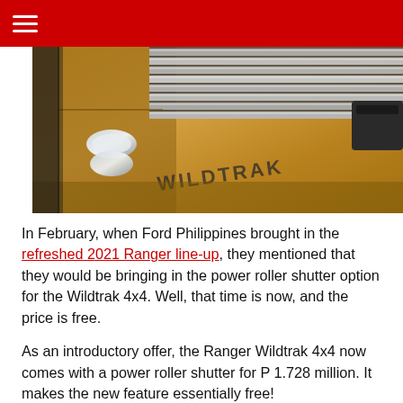≡ (hamburger menu)
[Figure (photo): Close-up side view of a gold/tan Ford Ranger Wildtrak pickup truck bed, showing the WILDTRAK lettering on the door, chrome door handle, and a roller shutter/tonneau cover on the truck bed.]
In February, when Ford Philippines brought in the refreshed 2021 Ranger line-up, they mentioned that they would be bringing in the power roller shutter option for the Wildtrak 4x4. Well, that time is now, and the price is free.
As an introductory offer, the Ranger Wildtrak 4x4 now comes with a power roller shutter for P 1.728 million. It makes the new feature essentially free!
available solely on the top-of-the-line non-Raptor Ranger, the power roller shutter is a segment-first